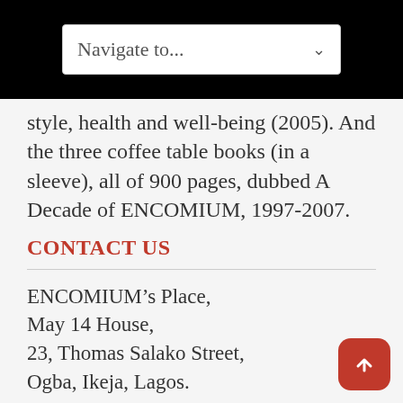Navigate to...
style, health and well-being (2005). And the three coffee table books (in a sleeve), all of 900 pages, dubbed A Decade of ENCOMIUM, 1997-2007.
CONTACT US
ENCOMIUM’s Place,
May 14 House,
23, Thomas Salako Street,
Ogba, Ikeja, Lagos.
Email: